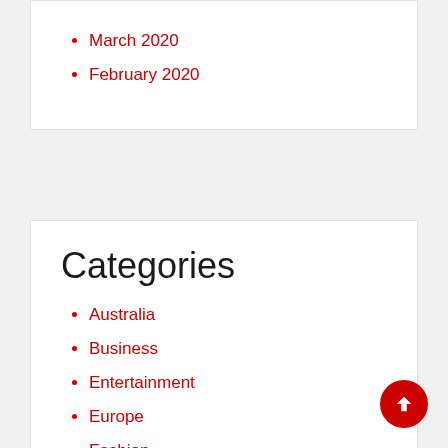March 2020
February 2020
Categories
Australia
Business
Entertainment
Europe
Fashion
Health